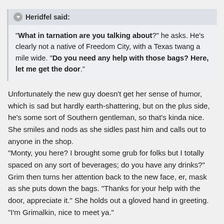Heridfel said: "What in tarnation are you talking about?" he asks. He's clearly not a native of Freedom City, with a Texas twang a mile wide. "Do you need any help with those bags? Here, let me get the door."
Unfortunately the new guy doesn't get her sense of humor, which is sad but hardly earth-shattering, but on the plus side, he's some sort of Southern gentleman, so that's kinda nice. She smiles and nods as she sidles past him and calls out to anyone in the shop.
"Monty, you here? I brought some grub for folks but I totally spaced on any sort of beverages; do you have any drinks?" Grim then turns her attention back to the new face, er, mask as she puts down the bags. "Thanks for your help with the door, appreciate it." She holds out a gloved hand in greeting. "I'm Grimalkin, nice to meet ya."